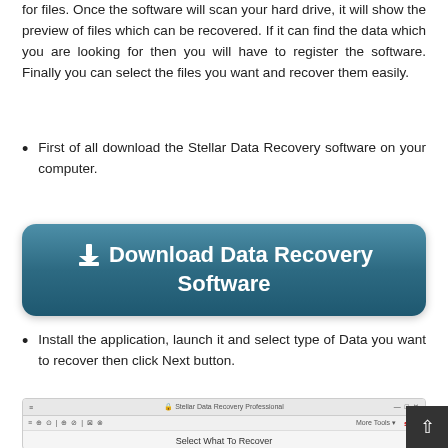for files. Once the software will scan your hard drive, it will show the preview of files which can be recovered. If it can find the data which you are looking for then you will have to register the software. Finally you can select the files you want and recover them easily.
First of all download the Stellar Data Recovery software on your computer.
[Figure (screenshot): Download Data Recovery Software button — a large teal/blue rounded rectangle button with a download icon and white text reading 'Download Data Recovery Software']
Install the application, launch it and select type of Data you want to recover then click Next button.
[Figure (screenshot): Screenshot of Stellar Data Recovery Professional application showing 'Select What To Recover' screen with toolbar and title bar]